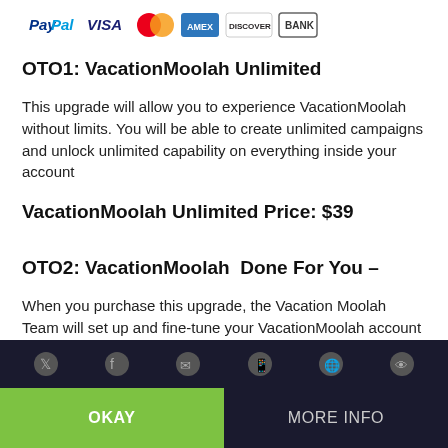[Figure (logo): Payment icons: PayPal, Visa, MasterCard, American Express, Discover, Bank]
OTO1: VacationMoolah Unlimited
This upgrade will allow you to experience VacationMoolah without limits. You will be able to create unlimited campaigns and unlock unlimited capability on everything inside your account
VacationMoolah Unlimited Price: $39
OTO2: VacationMoolah  Done For You –
When you purchase this upgrade, the Vacation Moolah Team will set up and fine-tune your VacationMoolah account so it's ready to churn out $300-500 per day.
This website uses cookies
OKAY
MORE INFO